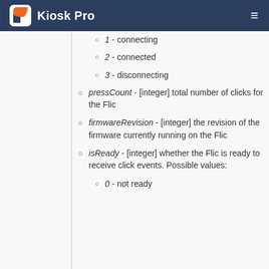Kiosk Pro
1 - connecting
2 - connected
3 - disconnecting
pressCount - [integer] total number of clicks for the Flic
firmwareRevision - [integer] the revision of the firmware currently running on the Flic
isReady - [integer] whether the Flic is ready to receive click events. Possible values:
0 - not ready